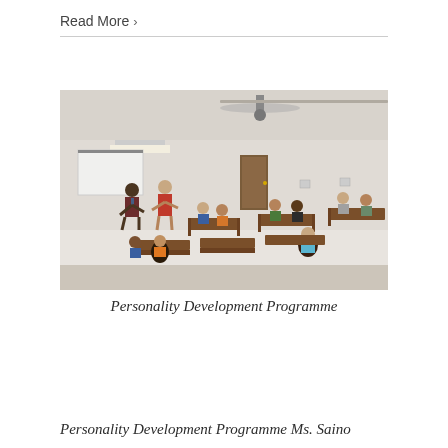Read More >
[Figure (photo): A classroom scene showing students seated at wooden desks and benches, listening to two standing presenters near a whiteboard. The room has white walls, a ceiling fan, and fluorescent lighting.]
Personality Development Programme
Personality Development Programme Ms. Saino